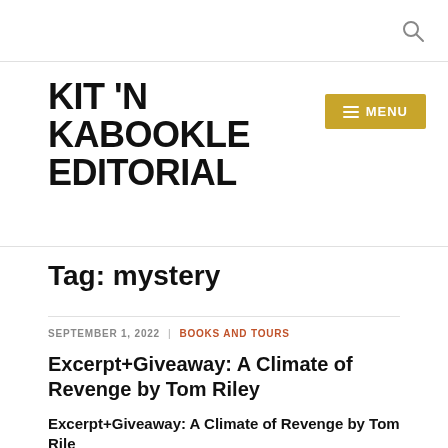KIT 'N KABOOKLE EDITORIAL
KIT 'N KABOOKLE EDITORIAL
Tag: mystery
SEPTEMBER 1, 2022 | BOOKS AND TOURS
Excerpt+Giveaway: A Climate of Revenge by Tom Riley
Excerpt+Giveaway: A Climate of Revenge by Tom Riley